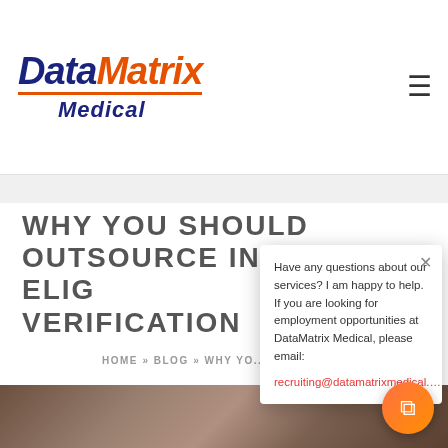[Figure (logo): DataMatrix Medical logo with blue italic text, orange accent, and underline]
WHY YOU SHOULD OUTSOURCE INSURANCE ELIGIBILITY VERIFICATION
HOME » BLOG » WHY YOU... ELIGIBIL...
[Figure (photo): Person working at desk with keyboard, papers and writing implements]
Have any questions about our services? I am happy to help. If you are looking for employment opportunities at DataMatrix Medical, please email: recruiting@datamatrixmedical....